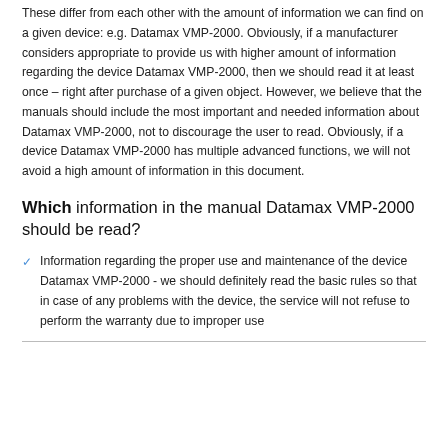These differ from each other with the amount of information we can find on a given device: e.g. Datamax VMP-2000. Obviously, if a manufacturer considers appropriate to provide us with higher amount of information regarding the device Datamax VMP-2000, then we should read it at least once – right after purchase of a given object. However, we believe that the manuals should include the most important and needed information about Datamax VMP-2000, not to discourage the user to read. Obviously, if a device Datamax VMP-2000 has multiple advanced functions, we will not avoid a high amount of information in this document.
Which information in the manual Datamax VMP-2000 should be read?
Information regarding the proper use and maintenance of the device Datamax VMP-2000 - we should definitely read the basic rules so that in case of any problems with the device, the service will not refuse to perform the warranty due to improper use